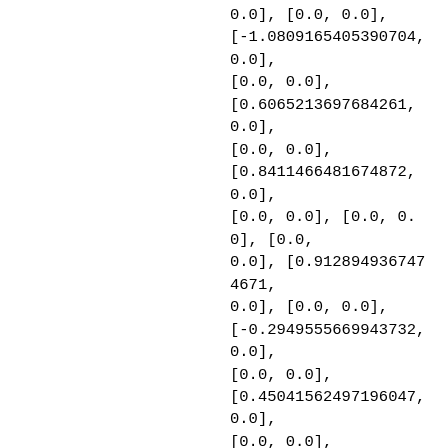0.0], [0.0, 0.0],
[-1.0809165405390704, 0.0],
[0.0, 0.0],
[0.6065213697684261, 0.0],
[0.0, 0.0],
[0.8411466481674872, 0.0],
[0.0, 0.0], [0.0, 0.0], [0.0,
0.0], [0.9128949367474671,
0.0], [0.0, 0.0],
[-0.2949555669943732, 0.0],
[0.0, 0.0],
[0.4504156249719604​7, 0.0],
[0.0, 0.0],
[0.8515543122857322, 0.0],
[0.0, 0.0], [0.0, 0.0], [0.0,
0.0], [0.4251251233619105,
0.0], [0.0, 0.0],
[0.5789376417566239, 0.0],
[0.0, 0.0],
[-0.20352880632710277, 0.0],